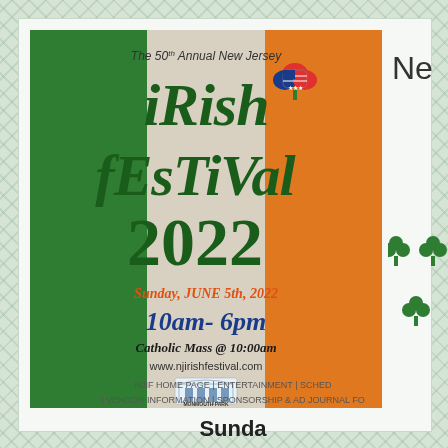[Figure (illustration): The 50th Annual New Jersey Irish Festival 2022 poster on Irish tricolor flag background (green, white/grey, orange). Shows shamrock with American flag design, text: Sunday JUNE 5th 2022, 10am-6pm, Catholic Mass @ 10:00am, www.njirishfestival.com, Monmouth Park logo.]
Ne
♣ ♣ ♣
NJIF HOME PAGE | ENTERTAINMENT | SCHED | VENDOR INFORMATION | SPONSORSHIP & AD JOURNAL FO
Sunda